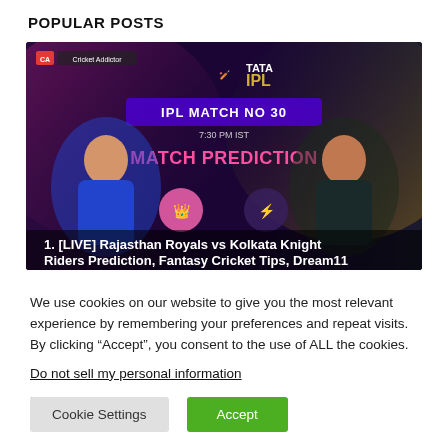POPULAR POSTS
[Figure (photo): IPL Match No 30 Match Prediction banner showing Rajasthan Royals vs Kolkata Knight Riders with TATA IPL logo, two cricket players, team logos, and text 'IPL MATCH NO 30, 7:30 PM IST, MATCH PREDICTION']
1. [LIVE] Rajasthan Royals vs Kolkata Knight Riders Prediction, Fantasy Cricket Tips, Dream11 Team,
We use cookies on our website to give you the most relevant experience by remembering your preferences and repeat visits. By clicking “Accept”, you consent to the use of ALL the cookies.
Do not sell my personal information.